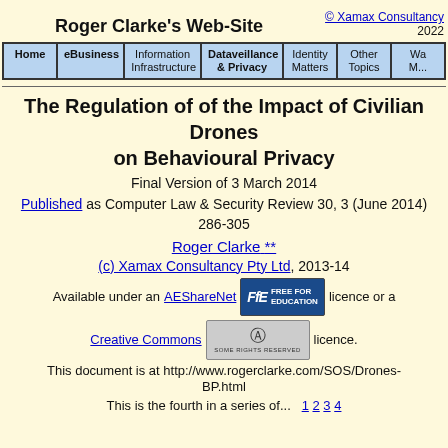Roger Clarke's Web-Site
© Xamax Consultancy 2022
[Figure (other): Navigation bar with tabs: Home, eBusiness, Information Infrastructure, Dataveillance & Privacy, Identity Matters, Other Topics, Wa... M...]
The Regulation of of the Impact of Civilian Drones on Behavioural Privacy
Final Version of 3 March 2014
Published as Computer Law & Security Review 30, 3 (June 2014) 286-305
Roger Clarke **
(c) Xamax Consultancy Pty Ltd, 2013-14
Available under an AEShareNet [FFE badge] licence or a
Creative Commons [CC badge] licence.
This document is at http://www.rogerclarke.com/SOS/Drones-BP.html
This is the fourth in a series of...